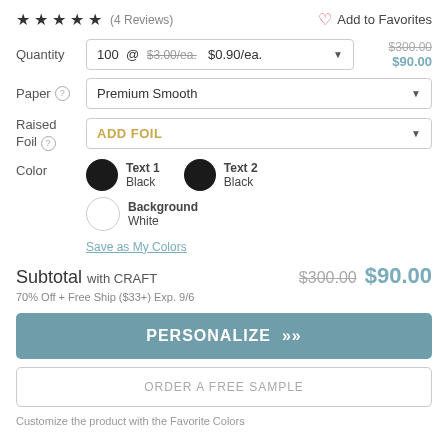★★★★★ (4 Reviews)   ♡ Add to Favorites
Quantity: 100 @ $3.00/ea. $0.90/ea.   $300.00 $90.00
Paper: Premium Smooth
Raised Foil: ADD FOIL
Color: Text 1 Black, Text 2 Black, Background White
Save as My Colors
Subtotal with CRAFT $300.00 $90.00
70% Off + Free Ship ($33+) Exp. 9/6
PERSONALIZE »
ORDER A FREE SAMPLE
Customize the product with the Favorite Colors